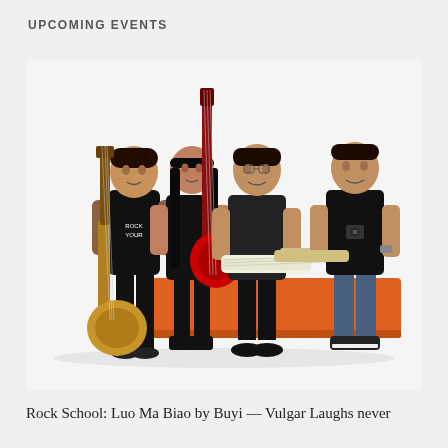UPCOMING EVENTS
[Figure (photo): Four members of a rock band posing against a white background. From left: a man standing in a black t-shirt with a gold electric guitar leaning against his leg; a woman with long black hair sitting and holding a red electric guitar vertically; a man in a dark shirt sitting and holding a white electric guitar; a man in a black t-shirt sitting on an orange cube/ottoman holding an electric guitar. An orange bench/cube is visible in the center.]
Rock School: Luo Ma Biao by Buyi — Vulgar Laughs never